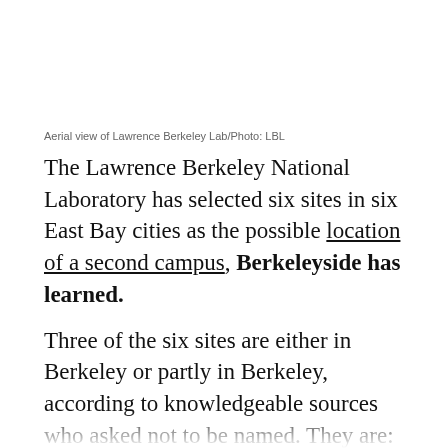Aerial view of Lawrence Berkeley Lab/Photo: LBL
The Lawrence Berkeley National Laboratory has selected six sites in six East Bay cities as the possible location of a second campus, Berkeleyside has learned.
Three of the six sites are either in Berkeley or partly in Berkeley, according to knowledgeable sources who asked not to be named. They are:
The Richmond Field Station. The University of California already owns this land, and it is presumed to be the front runner for the second campus.